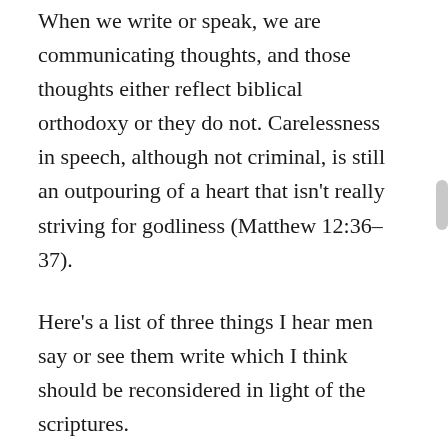When we write or speak, we are communicating thoughts, and those thoughts either reflect biblical orthodoxy or they do not. Carelessness in speech, although not criminal, is still an outpouring of a heart that isn't really striving for godliness (Matthew 12:36–37).
Here's a list of three things I hear men say or see them write which I think should be reconsidered in light of the scriptures.
THE BOSS
Of the three items in this post, this one is the most